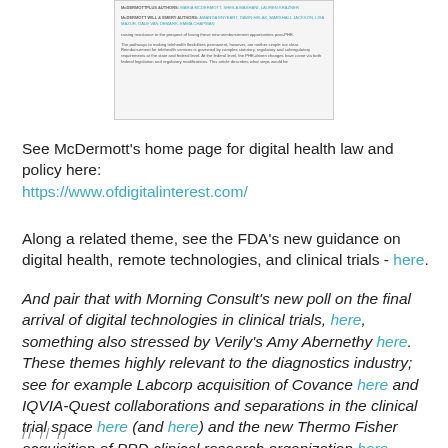[Figure (screenshot): Partial screenshot of a document with MCDERMOTTPLUS and McDermott Will & Emery author names and body text about telehealth reimbursement post-PHE.]
See McDermott's home page for digital health law and policy here:
https://www.ofdigitalinterest.com/
Along a related theme, see the FDA's new guidance on digital health, remote technologies, and clinical trials - here.
And pair that with Morning Consult's new poll on the final arrival of digital technologies in clinical trials, here, something also stressed by Verily's Amy Abernethy here. These themes highly relevant to the diagnostics industry; see for example Labcorp acquisition of Covance here and IQVIA-Quest collaborations and separations in the clinical trial space here (and here) and the new Thermo Fisher acquisition of PPD clinical research organization here.
// // //